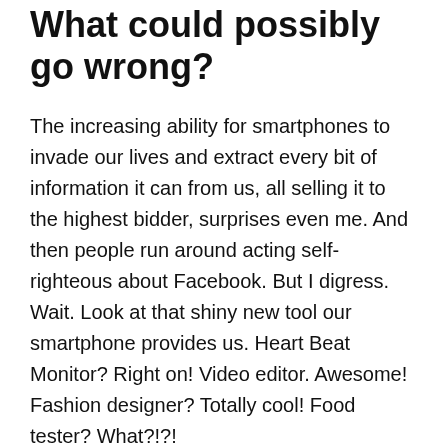What could possibly go wrong?
The increasing ability for smartphones to invade our lives and extract every bit of information it can from us, all selling it to the highest bidder, surprises even me.  And then people run around acting self-righteous about Facebook.  But I digress.  Wait.  Look at that shiny new tool our smartphone provides us.  Heart Beat Monitor?  Right on!  Video editor.  Awesome!  Fashion designer?  Totally cool!  Food tester?  What?!?!
Yup!  People are developing an app for your smartphone which will measure the amount of gas in the air your food produces when it begins to